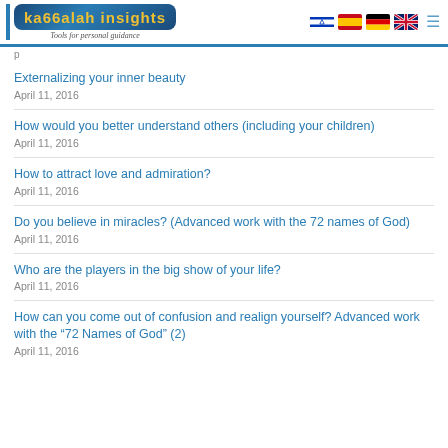Kabbalah Insights — Tools for personal guidance
Externalizing your inner beauty
April 11, 2016
How would you better understand others (including your children)
April 11, 2016
How to attract love and admiration?
April 11, 2016
Do you believe in miracles? (Advanced work with the 72 names of God)
April 11, 2016
Who are the players in the big show of your life?
April 11, 2016
How can you come out of confusion and realign yourself? Advanced work with the “72 Names of God” (2)
April 11, 2016